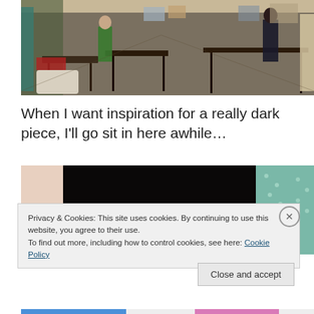[Figure (photo): Interior of an art studio with tables, easels, and people working. Long room with artwork on walls.]
When I want inspiration for a really dark piece, I'll go sit in here awhile…
[Figure (photo): Dark interior photo with teal/green curtains on the right side and a dark piece of furniture.]
Privacy & Cookies: This site uses cookies. By continuing to use this website, you agree to their use.
To find out more, including how to control cookies, see here: Cookie Policy
Close and accept